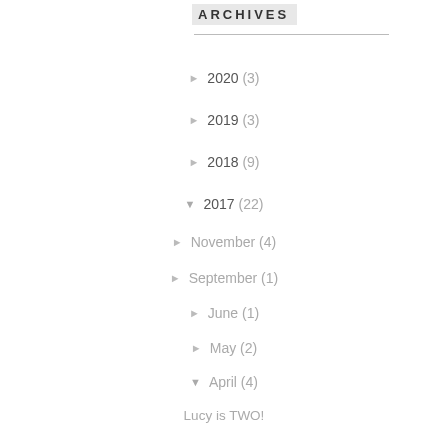ARCHIVES
► 2020 (3)
► 2019 (3)
► 2018 (9)
▼ 2017 (22)
► November (4)
► September (1)
► June (1)
► May (2)
▼ April (4)
Lucy is TWO!
We're Moving!
Gideon 5 months old
Recipes we've been loving
► March (2)